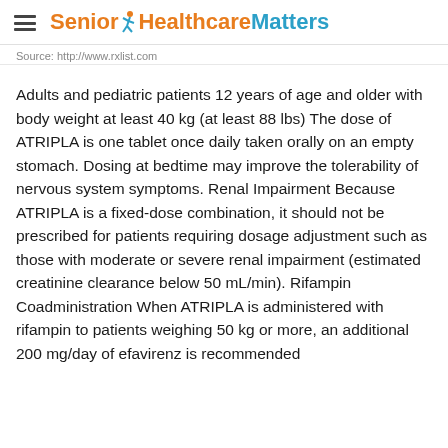Senior Healthcare Matters
Source: http://www.rxlist.com
Adults and pediatric patients 12 years of age and older with body weight at least 40 kg (at least 88 lbs) The dose of ATRIPLA is one tablet once daily taken orally on an empty stomach. Dosing at bedtime may improve the tolerability of nervous system symptoms. Renal Impairment Because ATRIPLA is a fixed-dose combination, it should not be prescribed for patients requiring dosage adjustment such as those with moderate or severe renal impairment (estimated creatinine clearance below 50 mL/min). Rifampin Coadministration When ATRIPLA is administered with rifampin to patients weighing 50 kg or more, an additional 200 mg/day of efavirenz is recommended